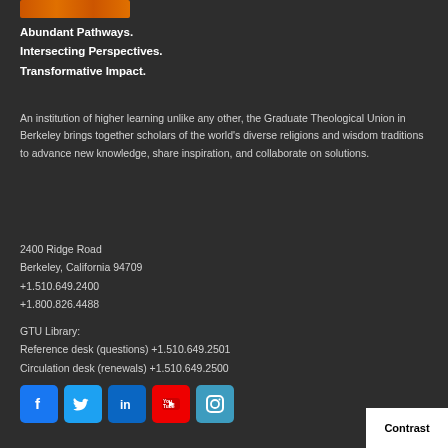[Figure (logo): Orange decorative bar logo]
Abundant Pathways.
Intersecting Perspectives.
Transformative Impact.
An institution of higher learning unlike any other, the Graduate Theological Union in Berkeley brings together scholars of the world's diverse religions and wisdom traditions to advance new knowledge, share inspiration, and collaborate on solutions.
2400 Ridge Road
Berkeley, California 94709
+1.510.649.2400
+1.800.826.4488
GTU Library:
Reference desk (questions) +1.510.649.2501
Circulation desk (renewals) +1.510.649.2500
[Figure (other): Social media icons: Facebook, Twitter, LinkedIn, YouTube, Instagram]
Contrast